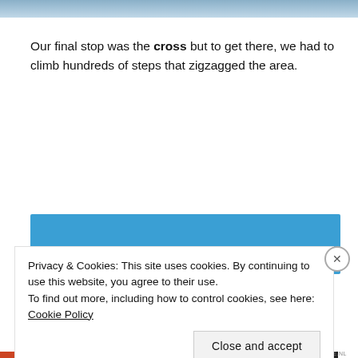[Figure (photo): Partial photo strip at top of page, showing a cropped image (blue/grey tones).]
Our final stop was the cross but to get there, we had to climb hundreds of steps that zigzagged the area.
[Figure (photo): Blue rectangular image block, partially visible.]
Privacy & Cookies: This site uses cookies. By continuing to use this website, you agree to their use.
To find out more, including how to control cookies, see here: Cookie Policy
Close and accept